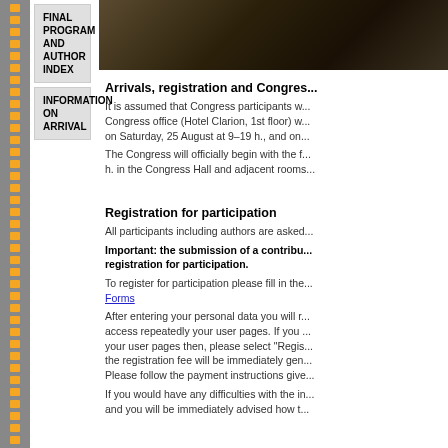FINAL PROGRAM AND AUTHOR INDEX
INFORMATION ON ARRIVAL
[Figure (photo): Dark interior photo, possibly a congress hall or meeting room]
Arrivals, registration and Congress...
It is assumed that Congress participants w... Congress office (Hotel Clarion, 1st floor) w... on Saturday, 25 August at 9–19 h., and on...
The Congress will officially begin with the f... h. in the Congress Hall and adjacent rooms...
Registration for participation
All participants including authors are asked...
Important: the submission of a contribu... registration for participation.
To register for participation please fill in the... Forms
After entering your personal data you will r... access repeatedly your user pages. If you ... your user pages then, please select "Regis... the registration fee will be immediately gen... Please follow the payment instructions give...
If you would have any difficulties with the in... and you will be immediately advised how t...